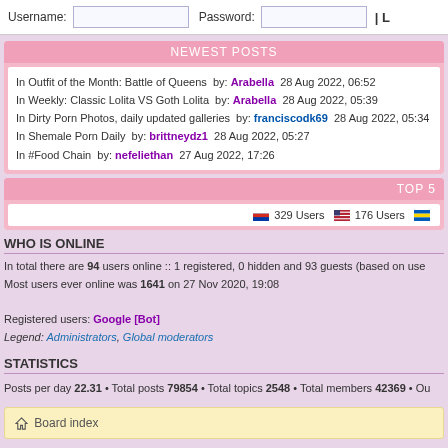Username: [input] Password: [input]
NEWEST POSTS
In Outfit of the Month: Battle of Queens by: Arabella 28 Aug 2022, 06:52
In Weekly: Classic Lolita VS Goth Lolita by: Arabella 28 Aug 2022, 05:39
In Dirty Porn Photos, daily updated galleries by: franciscodk69 28 Aug 2022, 05:34
In Shemale Porn Daily by: brittneydz1 28 Aug 2022, 05:27
In #Food Chain by: nefeliethan 27 Aug 2022, 17:26
TOP 5
🇷🇺 329 Users 🇺🇸 176 Users
WHO IS ONLINE
In total there are 94 users online :: 1 registered, 0 hidden and 93 guests (based on users active over the past 5 minutes)
Most users ever online was 1641 on 27 Nov 2020, 19:08

Registered users: Google [Bot]
Legend: Administrators, Global moderators
STATISTICS
Posts per day 22.31 • Total posts 79854 • Total topics 2548 • Total members 42369 • Our newest member
⌂ Board index